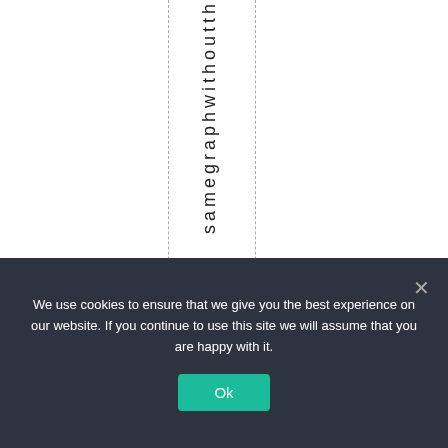samegraphwithoutth
We use cookies to ensure that we give you the best experience on our website. If you continue to use this site we will assume that you are happy with it.